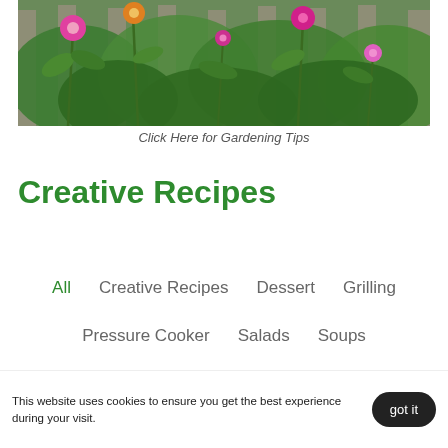[Figure (photo): Photograph of colorful garden flowers (pink, orange, magenta zinnias) growing in front of a wooden fence with lush green foliage]
Click Here for Gardening Tips
Creative Recipes
All
Creative Recipes
Dessert
Grilling
Pressure Cooker
Salads
Soups
Spring Recipes
This website uses cookies to ensure you get the best experience during your visit.